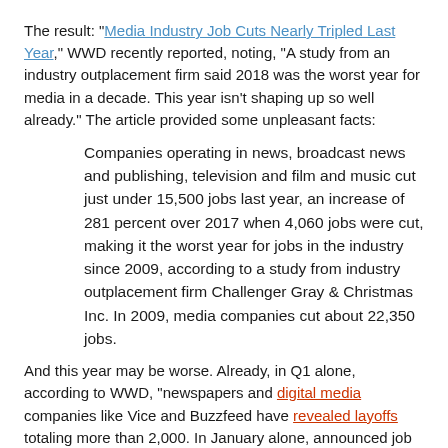The result: "Media Industry Job Cuts Nearly Tripled Last Year," WWD recently reported, noting, "A study from an industry outplacement firm said 2018 was the worst year for media in a decade. This year isn't shaping up so well already." The article provided some unpleasant facts:
Companies operating in news, broadcast news and publishing, television and film and music cut just under 15,500 jobs last year, an increase of 281 percent over 2017 when 4,060 jobs were cut, making it the worst year for jobs in the industry since 2009, according to a study from industry outplacement firm Challenger Gray & Christmas Inc. In 2009, media companies cut about 22,350 jobs.
And this year may be worse. Already, in Q1 alone, according to WWD, "newspapers and digital media companies like Vice and Buzzfeed have revealed layoffs totaling more than 2,000. In January alone, announced job cuts were already up 49.6 percent compared to the beginning of 2018, according to Challenger Gray."